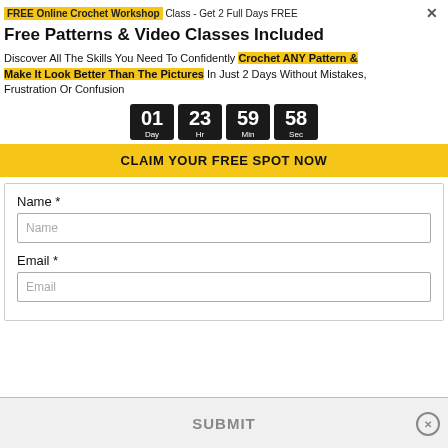FREE Online Crochet Workshop Class - Get 2 Full Days FREE
Free Patterns & Video Classes Included
Discover All The Skills You Need To Confidently Crochet ANY Pattern & Make It Look Better Than The Pictures In Just 2 Days Without Mistakes, Frustration Or Confusion
[Figure (infographic): Countdown timer showing 01 Day 23 Hr 59 Min 58 Sec in black blocks with white text]
CLAIM YOUR FREE SPOT NOW
Name *
Email *
SUBMIT